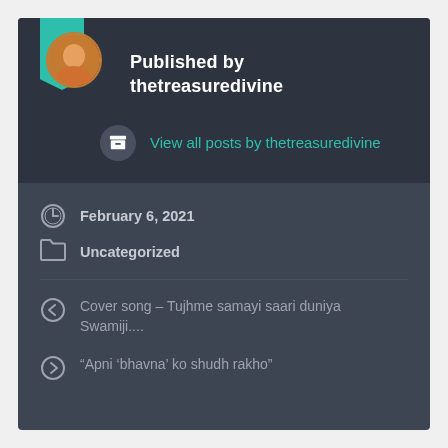Published by thetreasuredivine
View all posts by thetreasuredivine
February 6, 2021
Uncategorized
Cover song – Tujhme samayi saari duniya Swamiji....
“Apni ‘bhavna’ ko shudh rakho”